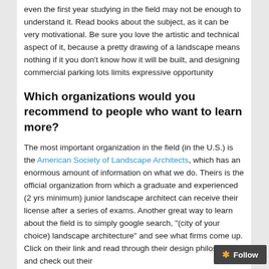even the first year studying in the field may not be enough to understand it. Read books about the subject, as it can be very motivational. Be sure you love the artistic and technical aspect of it, because a pretty drawing of a landscape means nothing if it you don't know how it will be built, and designing commercial parking lots limits expressive opportunity
Which organizations would you recommend to people who want to learn more?
The most important organization in the field (in the U.S.) is the American Society of Landscape Architects, which has an enormous amount of information on what we do. Theirs is the official organization from which a graduate and experienced (2 yrs minimum) junior landscape architect can receive their license after a series of exams. Another great way to learn about the field is to simply google search, "(city of your choice) landscape architecture" and see what firms come up. Click on their link and read through their design philosophy and check out their